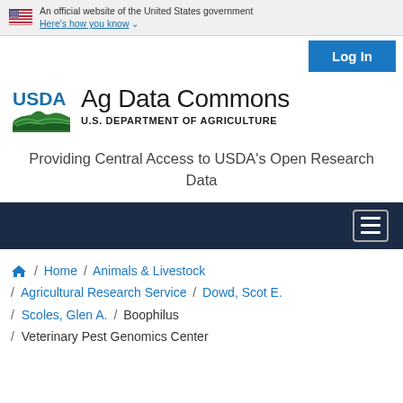An official website of the United States government Here's how you know
[Figure (logo): Log In button (blue)]
[Figure (logo): USDA logo with green field graphic and text 'Ag Data Commons / U.S. DEPARTMENT OF AGRICULTURE']
Providing Central Access to USDA's Open Research Data
[Figure (other): Dark navy navigation bar with hamburger menu icon]
Home / Animals & Livestock / Agricultural Research Service / Dowd, Scot E. / Scoles, Glen A. / Boophilus / Veterinary Pest Genomics Center